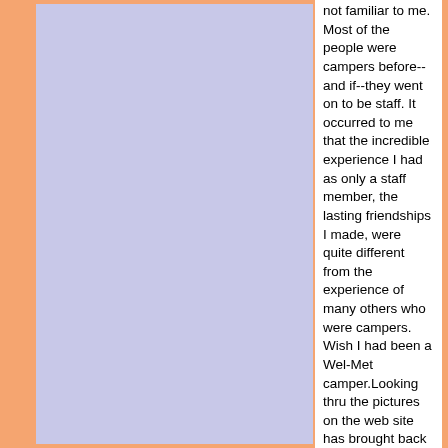not familiar to me. Most of the people were campers before--and if--they went on to be staff. It occurred to me that the incredible experience I had as only a staff member, the lasting friendships I made, were quite different from the experience of many others who were campers. Wish I had been a Wel-Met camper.Looking thru the pictures on the web site has brought back very pleasant memories of people who had been lost in the far recesses of my memory. Alan Alterbaum, the second time I looked at the pix of you and your family I remembered you and how nice and helpful you always were. I also recognized the names of people I never knew and who never knew me, such as Beth Goldberg. But I was reminded of her father and all the other guys who ran Wel-Met and left such a wonderful legacy.It has been great fun reconnecting with people by e-mail. Benny Wax, you are a legend in your own time! It was great to hear about you today at my daughters soccer game, when i talked with Alan Breen. Sounds as if you have found a life of contentment, away from the rat race. Listening to Alan talk about Wel-Met was the most animated I have ever seen him. Cant wait to see Laurie Harris when she and her husband come up my way to get their son settled in at the University of Washington. Laurie, I have dug out old slides